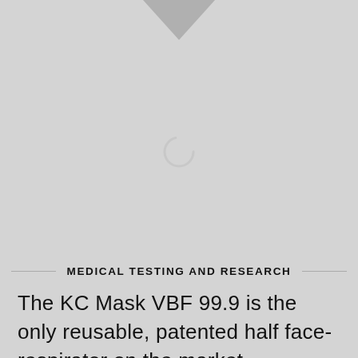[Figure (illustration): Gray placeholder image area with a downward-pointing triangle arrow at the top center and a loading spinner circle in the middle of the image area.]
MEDICAL TESTING AND RESEARCH
The KC Mask VBF 99.9 is the only reusable, patented half face-respirator on the market worldwide with replaceable, built-in, high